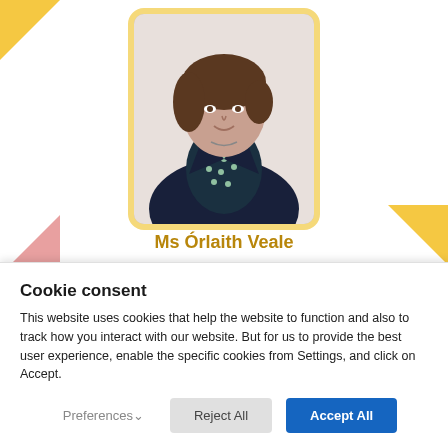[Figure (photo): Professional headshot of Ms Órlaith Veale, a woman with short brown hair wearing a dark navy blazer over a dark patterned blouse with small light-colored dots, framed in a yellow/gold rounded rectangular border]
Ms Órlaith Veale
Cookie consent
This website uses cookies that help the website to function and also to track how you interact with our website. But for us to provide the best user experience, enable the specific cookies from Settings, and click on Accept.
Preferences  Reject All  Accept All